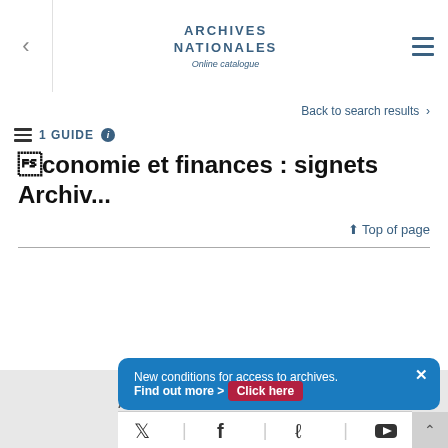ARCHIVES NATIONALES Online catalogue
Back to search results >
≡ 1 GUIDE ℹ
Économie et finances : signets Archiv...
⬆ Top of page
CONTACT
ABOUT US
REUSE OF INFORMATION
LEGAL INFORMATION
ARCHIVES NATIONALES
New conditions for access to archives. Find out more > Click here